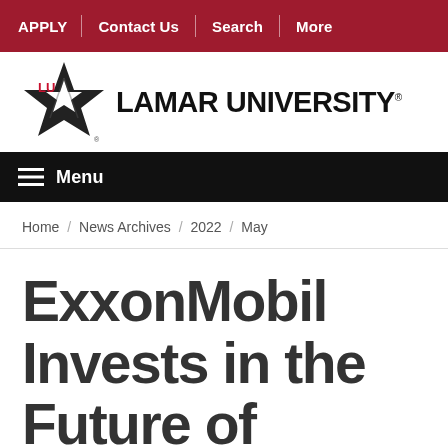APPLY | Contact Us | Search | More
[Figure (logo): Lamar University logo with star emblem and text LAMAR UNIVERSITY]
Menu
Home / News Archives / 2022 / May
ExxonMobil Invests in the Future of